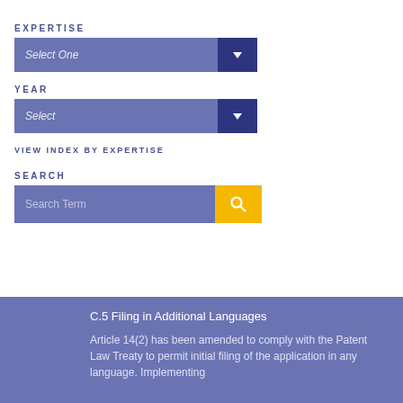EXPERTISE
[Figure (screenshot): Dropdown selector labeled 'Select One' with dark blue arrow button]
YEAR
[Figure (screenshot): Dropdown selector labeled 'Select' with dark blue arrow button]
VIEW INDEX BY EXPERTISE
SEARCH
[Figure (screenshot): Search bar with 'Search Term' placeholder and yellow search button with magnifier icon]
C.5 Filing in Additional Languages
Article 14(2) has been amended to comply with the Patent Law Treaty to permit initial filing of the application in any language. Implementing